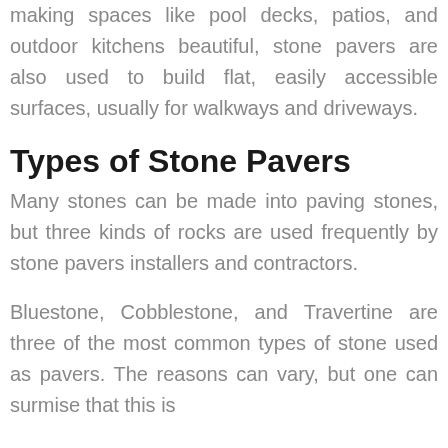making spaces like pool decks, patios, and outdoor kitchens beautiful, stone pavers are also used to build flat, easily accessible surfaces, usually for walkways and driveways.
Types of Stone Pavers
Many stones can be made into paving stones, but three kinds of rocks are used frequently by stone pavers installers and contractors.
Bluestone, Cobblestone, and Travertine are three of the most common types of stone used as pavers. The reasons can vary, but one can surmise that this is